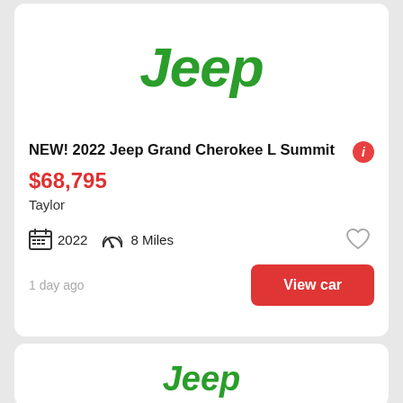[Figure (logo): Jeep brand logo in bold green italic text]
NEW! 2022 Jeep Grand Cherokee L Summit
$68,795
Taylor
2022   8 Miles
1 day ago
View car
[Figure (logo): Jeep brand logo in bold green italic text (partial, second card)]